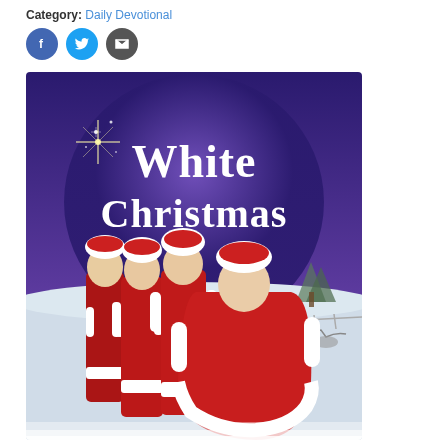Category: Daily Devotional
[Figure (photo): Movie poster for 'White Christmas' showing four performers in red and white Santa costumes against a snowy winter background with purple sky and large White Christmas title text]
[Figure (illustration): Social media sharing buttons: Facebook (blue circle with f), Twitter (light blue circle with bird), Email (dark circle with envelope)]